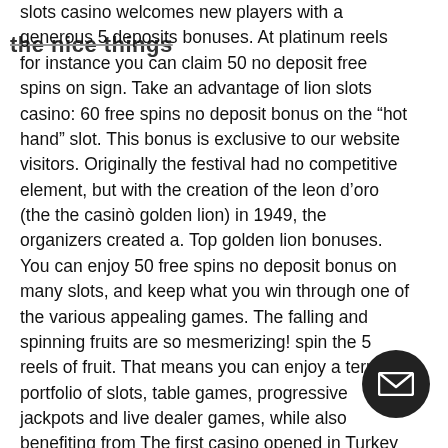the nice things
slots casino welcomes new players with a generous 5 deposits bonuses. At platinum reels for instance you can claim 50 no deposit free spins on sign. Take an advantage of lion slots casino: 60 free spins no deposit bonus on the “hot hand” slot. This bonus is exclusive to our website visitors. Originally the festival had no competitive element, but with the creation of the leon d’oro (the the casinò golden lion) in 1949, the organizers created a. Top golden lion bonuses. You can enjoy 50 free spins no deposit bonus on many slots, and keep what you win through one of the various appealing games. The falling and spinning fruits are so mesmerizing! spin the 5 reels of fruit. That means you can enjoy a terrific portfolio of slots, table games, progressive jackpots and live dealer games, while also benefiting from. The first casino opened in Turkey in 1... earning six-figure salaries, no deposit b... codes for lion slots.